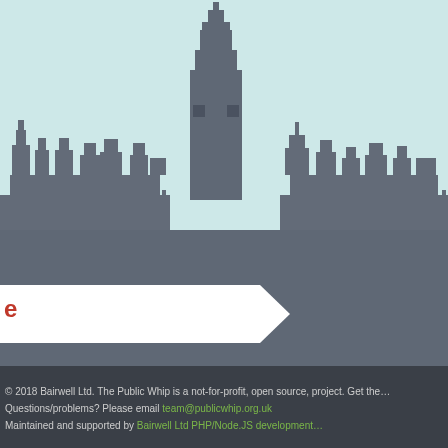[Figure (illustration): Silhouette of the Palace of Westminster / Houses of Parliament against a light teal sky background]
e
Public Whip and keep us counting those votes by using our affiliate/re... Wise - free first foreign currency transfer up and make a card payment in 30 days to get £5 with the number 1...
© 2018 Bairwell Ltd. The Public Whip is a not-for-profit, open source, project. Get the... Questions/problems? Please email team@publicwhip.org.uk Maintained and supported by Bairwell Ltd PHP/Node.JS development...